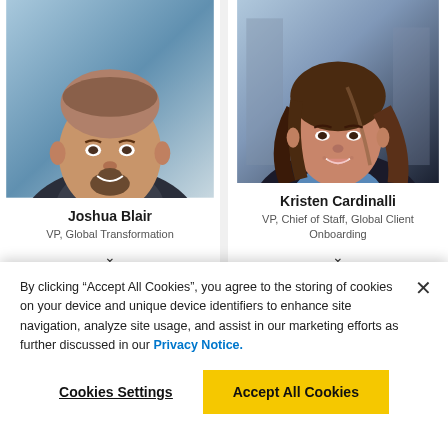[Figure (photo): Headshot photo of Joshua Blair, a man with a shaved head, goatee, wearing a dark suit and light blue checked shirt, smiling]
Joshua Blair
VP, Global Transformation
[Figure (photo): Headshot photo of Kristen Cardinalli, a woman with long brown hair, wearing a blue blouse, smiling]
Kristen Cardinalli
VP, Chief of Staff, Global Client Onboarding
By clicking “Accept All Cookies”, you agree to the storing of cookies on your device and unique device identifiers to enhance site navigation, analyze site usage, and assist in our marketing efforts as further discussed in our Privacy Notice.
Cookies Settings
Accept All Cookies